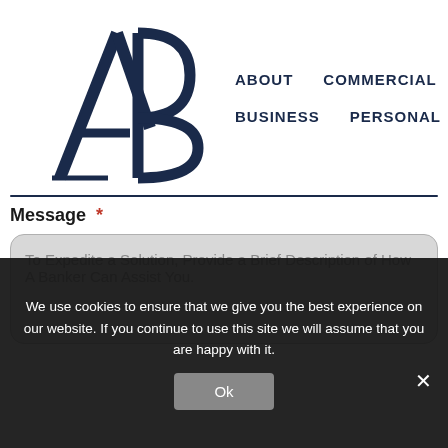[Figure (logo): AB logo — stylized large A and B letters in dark navy, serif style]
ABOUT   COMMERCIAL
BUSINESS   PERSONAL
Message *
To Expedite a Solution, Provide a Brief Description of How A Banker Can Assist You.
We use cookies to ensure that we give you the best experience on our website. If you continue to use this site we will assume that you are happy with it.
Ok